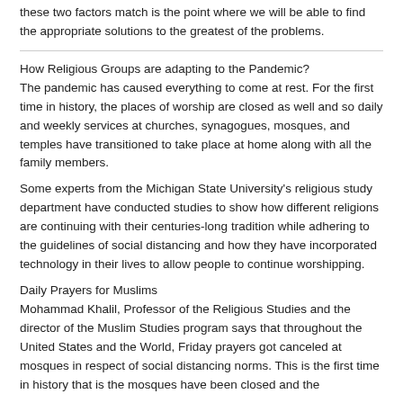these two factors match is the point where we will be able to find the appropriate solutions to the greatest of the problems.
How Religious Groups are adapting to the Pandemic?
The pandemic has caused everything to come at rest. For the first time in history, the places of worship are closed as well and so daily and weekly services at churches, synagogues, mosques, and temples have transitioned to take place at home along with all the family members.
Some experts from the Michigan State University's religious study department have conducted studies to show how different religions are continuing with their centuries-long tradition while adhering to the guidelines of social distancing and how they have incorporated technology in their lives to allow people to continue worshipping.
Daily Prayers for Muslims
Mohammad Khalil, Professor of the Religious Studies and the director of the Muslim Studies program says that throughout the United States and the World, Friday prayers got canceled at mosques in respect of social distancing norms. This is the first time in history that is the mosques have been closed and the